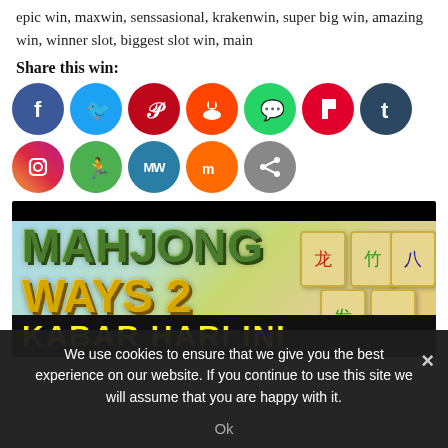epic win, maxwin, senssasional, krakenwin, super big win, amazing win, winner slot, biggest slot win, main
Share this win:
[Figure (infographic): Row of social media share icons: Facebook (blue), Twitter (light blue), Pinterest (red), Reddit (orange-red), WhatsApp (green), Flipboard (red), Tumblr (dark blue), Instagram (gradient), Runnr (green), MeWe (teal), Mix (orange), Share (gray)]
[Figure (photo): Mahjong Ways 2 game banner with green/gold title text and 'KABAR HARI INI' text on black bar, showing mahjong tiles in background]
We use cookies to ensure that we give you the best experience on our website. If you continue to use this site we will assume that you are happy with it. Ok